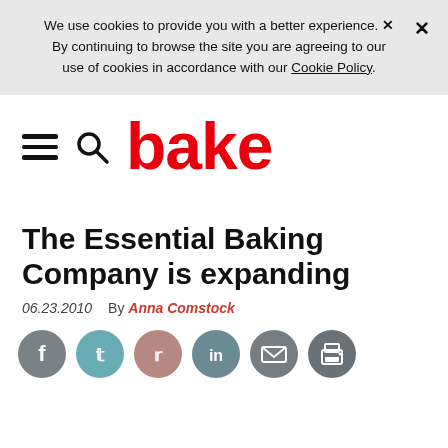We use cookies to provide you with a better experience. × By continuing to browse the site you are agreeing to our use of cookies in accordance with our Cookie Policy.
[Figure (logo): Bake magazine logo with hamburger menu icon, search icon, and red bold 'bake' wordmark]
The Essential Baking Company is expanding
06.23.2010  By Anna Comstock
[Figure (infographic): Social sharing icons: Facebook (grey), Twitter (teal), Reddit (dusty rose), LinkedIn (steel blue), Email (grey), Print (grey)]